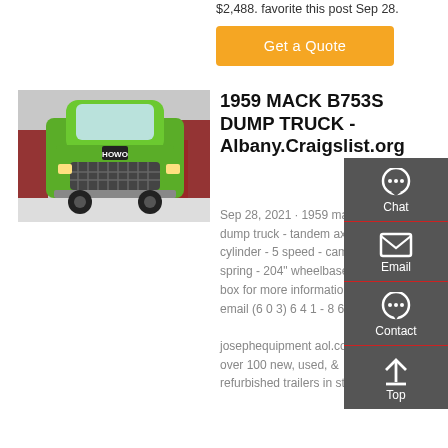$2,488. favorite this post Sep 28.
[Figure (other): Orange 'Get a Quote' button]
[Figure (photo): Green HOWO dump truck parked in a warehouse/showroom with red trucks in background]
1959 MACK B753S DUMP TRUCK - Albany.Craigslist.org
Sep 28, 2021 · 1959 mack b753s dump truck - tandem axle - cylinder - 5 speed - camelback spring - 204" wheelbase - ptc box for more information. email (6 0 3) 6 4 1 - 8 6 0 8 josephequipment aol.com *** over 100 new, used, & refurbished trailers in stock -
[Figure (infographic): Right sidebar with Chat, Email, Contact, Top navigation icons on dark grey background]